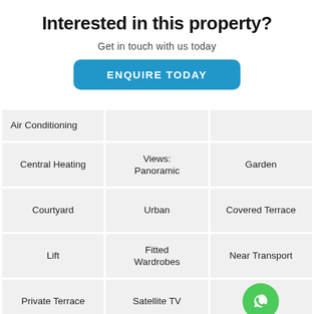Interested in this property?
Get in touch with us today
ENQUIRE TODAY
| Air Conditioning |  |  |
| Central Heating | Views:
Panoramic | Garden |
| Courtyard | Urban | Covered Terrace |
| Lift | Fitted
Wardrobes | Near Transport |
| Private Terrace | Satellite TV | [WhatsApp icon] |
| Storage Room | Utility Room | Ensuite
Bathroom |